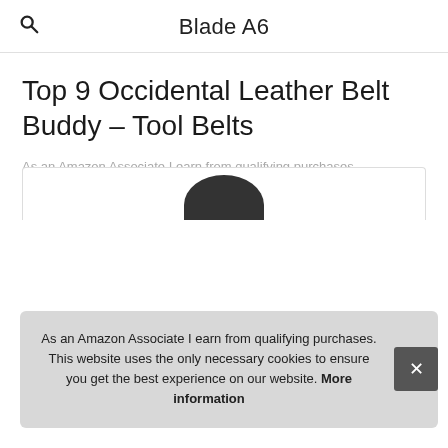Blade A6
Top 9 Occidental Leather Belt Buddy – Tool Belts
As an Amazon Associate I earn from qualifying purchases.
1. Occidental Leather
As an Amazon Associate I earn from qualifying purchases. This website uses the only necessary cookies to ensure you get the best experience on our website. More information